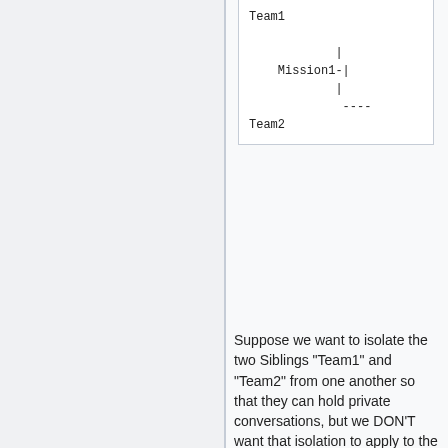[Figure (other): A monospace text diagram showing a channel hierarchy: Team1 at top, Mission1- in middle with vertical bar lines, dashes at bottom, Team2 below]
Suppose we want to isolate the two Siblings "Team1" and "Team2" from one another so that they can hold private conversations, but we DON'T want that isolation to apply to the Parent channel "Mission1". That way, it's easy to share mission-wide conversations by hopping into the "Mission1" channel. Anybody lurking in "Mission1" can hear and interact with every conversation throughout that Mission1 Link Community, but